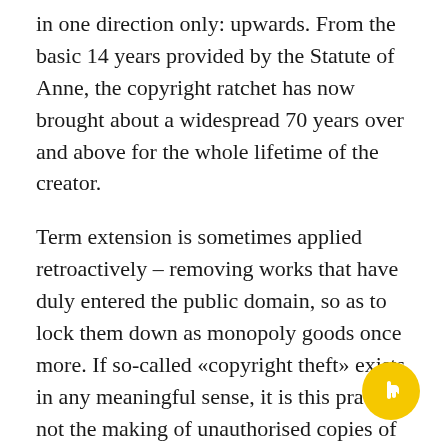in one direction only: upwards. From the basic 14 years provided by the Statute of Anne, the copyright ratchet has now brought about a widespread 70 years over and above for the whole lifetime of the creator.
Term extension is sometimes applied retroactively – removing works that have duly entered the public domain, so as to lock them down as monopoly goods once more. If so-called «copyright theft» exists in any meaningful sense, it is this practice, not the making of unauthorised copies of digital works, which the EU's own study showed causes negligible harm to sales.
The steady expansion of copyright's reach has had a profound effect on the public domain and how it can be enjoyed. In the years following the passing of the Statute of Anne, a work would remain protected for at